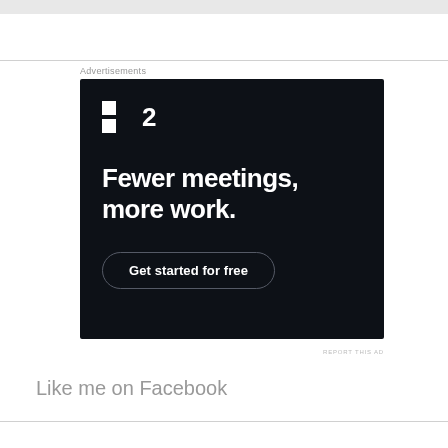Advertisements
[Figure (illustration): Advertisement banner for Fraction (F2 logo) with dark background showing white text 'Fewer meetings, more work.' and a 'Get started for free' button]
REPORT THIS AD
Like me on Facebook